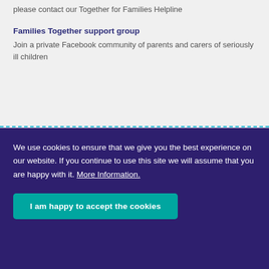If you have questions or want to know where to go for support, please contact our Together for Families Helpline
Families Together support group
Join a private Facebook community of parents and carers of seriously ill children
We use cookies to ensure that we give you the best experience on our website. If you continue to use this site we will assume that you are happy with it. More Information.
I am happy to accept the cookies